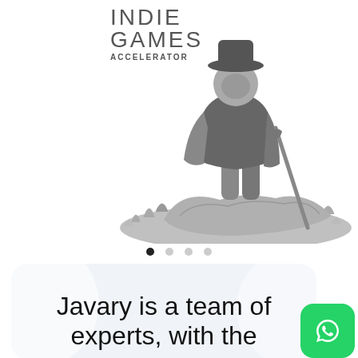[Figure (illustration): Grayscale 3D character standing on a rocky mound with grass, holding a staff or cane, with 'INDIE GAMES ACCELERATOR' logo text beside them. Below the figure is a curved line suggesting a UI slide or accent. Pagination dots appear below the image area.]
Javary is a team of experts, with the